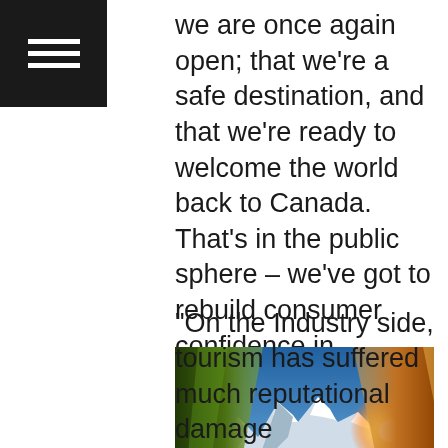[Figure (other): Hamburger menu icon (three white horizontal lines on black background) in top-left corner]
we are once again open; that we're a safe destination, and that we're ready to welcome the world back to Canada. That's in the public sphere – we've got to rebuild consumer confidence in choosing Canada.
[Figure (photo): View from inside a camping tent looking out at a mountain landscape at sunset. Person's boots/feet visible in foreground, snow-capped mountains in background, warm golden sunlight on the right side of the tent opening.]
"On the Industry side, tourism has suffered much reputational damage